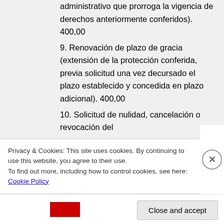administrativo que prorroga la vigencia de derechos anteriormente conferidos). 400,00
9. Renovación de plazo de gracia (extensión de la protección conferida, previa solicitud una vez decursado el plazo establecido y concedida en plazo adicional). 400,00
10. Solicitud de nulidad, cancelación o revocación del
Privacy & Cookies: This site uses cookies. By continuing to use this website, you agree to their use.
To find out more, including how to control cookies, see here: Cookie Policy